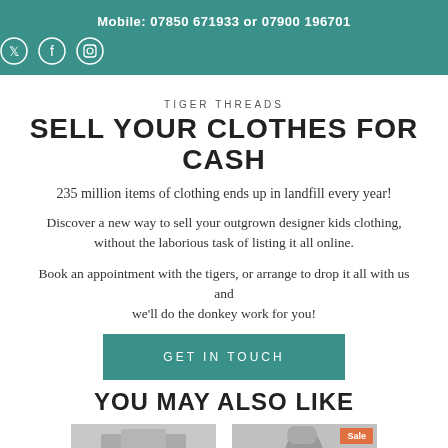Mobile: 07850 671933 or 07900 196701
TIGER THREADS
SELL YOUR CLOTHES FOR CASH
235 million items of clothing ends up in landfill every year!
Discover a new way to sell your outgrown designer kids clothing, without the laborious task of listing it all online.
Book an appointment with the tigers, or arrange to drop it all with us and we'll do the donkey work for you!
GET IN TOUCH
YOU MAY ALSO LIKE
[Figure (photo): Two product thumbnail images side by side, right one with Sale badge]